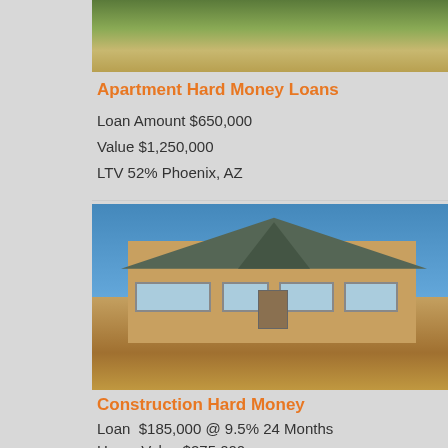[Figure (photo): Aerial or ground-level photo of land/field, partially visible at top]
Apartment Hard Money Loans
Loan Amount $650,000
Value $1,250,000
LTV 52% Phoenix, AZ
[Figure (photo): Photo of a new home under construction with sandy lot in front, blue sky background]
Construction Hard Money
Loan  $185,000 @ 9.5% 24 Months
Home Value $275,000